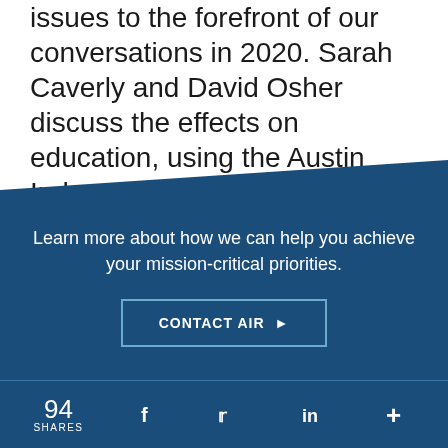issues to the forefront of our conversations in 2020. Sarah Caverly and David Osher discuss the effects on education, using the Austin Independent School District as an example of how a school ...
Learn more about how we can help you achieve your mission-critical priorities.
CONTACT AIR ▶
94 SHARES